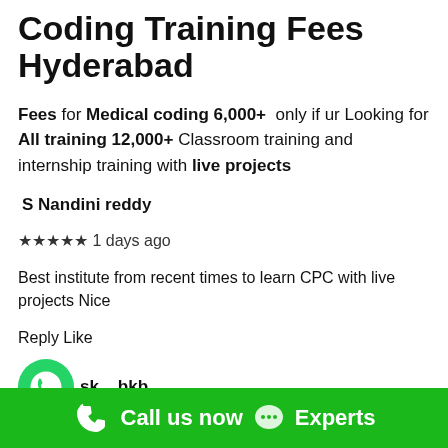Coding Training Fees Hyderabad
Fees for Medical coding 6,000+ only if ur Looking for All training 12,000+ Classroom training and internship training with live projects
S Nandini reddy
★★★★★ 1 days ago
Best institute from recent times to learn CPC with live projects Nice
Reply Like
sk bkb
★★ 8 days ago
Well experienced faculty for medical coding highly recommended for training.
Call us now  Experts